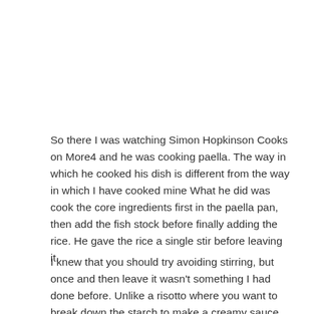So there I was watching Simon Hopkinson Cooks on More4 and he was cooking paella. The way in which he cooked his dish is different from the way in which I have cooked mine What he did was cook the core ingredients first in the paella pan, then add the fish stock before finally adding the rice. He gave the rice a single stir before leaving it.
I knew that you should try avoiding stirring, but once and then leave it wasn't something I had done before. Unlike a risotto where you want to break down the starch to make a creamy sauce, you want the rice in a paella to